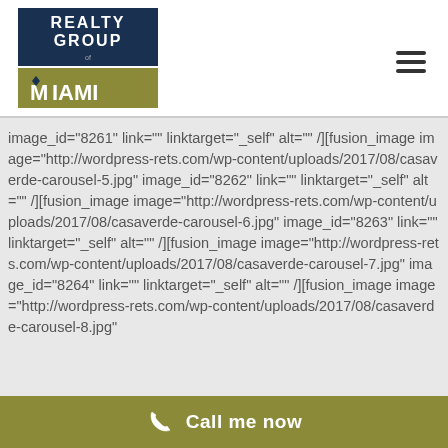[Figure (logo): Realty Group of Miami logo — dark blue rectangle with white text REALTY GROUP above a gold/olive rectangle with stylized M and MIAMI text]
image_id="8261" link="" linktarget="_self" alt="" /][fusion_image image="http://wordpress-rets.com/wp-content/uploads/2017/08/casaverde-carousel-5.jpg" image_id="8262" link="" linktarget="_self" alt="" /][fusion_image image="http://wordpress-rets.com/wp-content/uploads/2017/08/casaverde-carousel-6.jpg" image_id="8263" link="" linktarget="_self" alt="" /][fusion_image image="http://wordpress-rets.com/wp-content/uploads/2017/08/casaverde-carousel-7.jpg" image_id="8264" link="" linktarget="_self" alt="" /][fusion_image image="http://wordpress-rets.com/wp-content/uploads/2017/08/casaverde-carousel-8.jpg"
Call me now